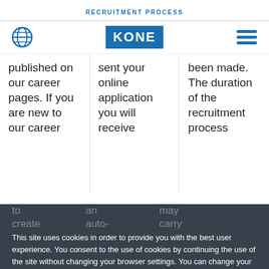RECRUITMENT PROCESS
[Figure (logo): KONE logo with globe and hamburger menu icons in navigation bar]
published on our career pages. If you are new to our career
sent your online application you will receive an auto-
been made. The duration of the recruitment process may
This site uses cookies in order to provide you with the best user experience. You consent to the use of cookies by continuing the use of the site without changing your browser settings. You can change your browser settings and preferences at any time. For further information on cookies, please see our privacy statement.
to create yourself a user account
via and live manner
factors carry and this process